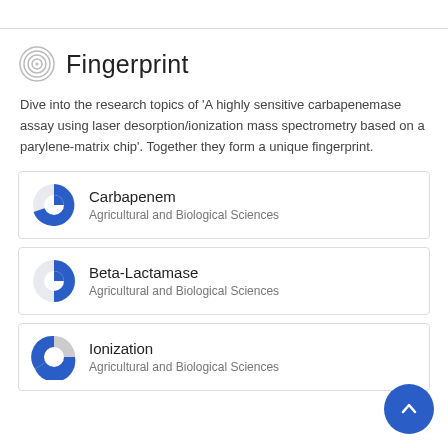Fingerprint
Dive into the research topics of 'A highly sensitive carbapenemase assay using laser desorption/ionization mass spectrometry based on a parylene-matrix chip'. Together they form a unique fingerprint.
Carbapenem — Agricultural and Biological Sciences
Beta-Lactamase — Agricultural and Biological Sciences
Ionization — Agricultural and Biological Sciences